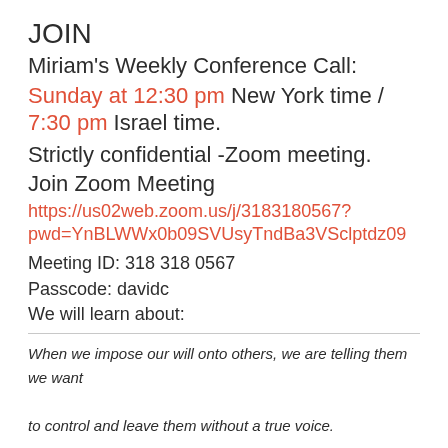JOIN
Miriam's Weekly Conference Call:
Sunday at 12:30 pm New York time / 7:30 pm Israel time.
Strictly confidential -Zoom meeting.
Join Zoom Meeting
https://us02web.zoom.us/j/3183180567?pwd=YnBLWWx0b09SVUsyTndBa3VSclptdz09
Meeting ID: 318 318 0567
Passcode: davidc
We will learn about:
When we impose our will onto others, we are telling them we want to control and leave them without a true voice.
The right to...